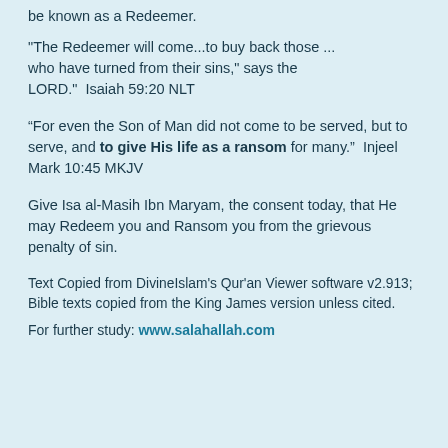be known as a Redeemer.
"The Redeemer will come...to buy back those ... who have turned from their sins," says the LORD."  Isaiah 59:20 NLT
“For even the Son of Man did not come to be served, but to serve, and to give His life as a ransom for many.”  Injeel Mark 10:45 MKJV
Give Isa al-Masih Ibn Maryam, the consent today, that He may Redeem you and Ransom you from the grievous penalty of sin.
Text Copied from DivineIslam's Qur'an Viewer software v2.913; Bible texts copied from the King James version unless cited.
For further study: www.salahallah.com